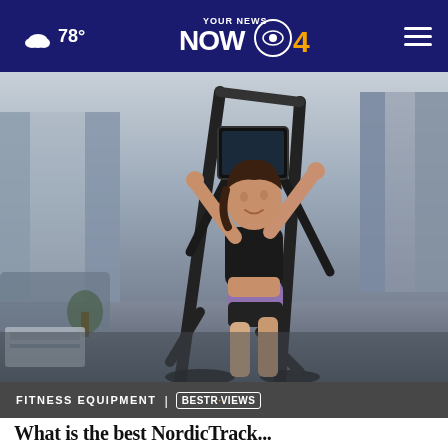78° YOUR NEWS NOW CBS 4
[Figure (photo): Woman exercising on an elliptical/cross-trainer machine in a home gym setting, wearing black sports bra and purple/black shorts, pulling on handles of the machine. Background shows curtains and home interior.]
FITNESS EQUIPMENT | BESTREVIEWS
What is the best NordicTrack...